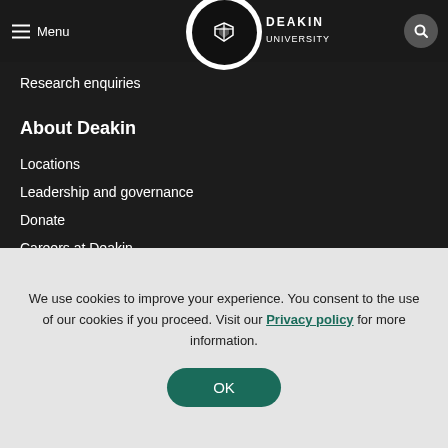Deakin University — Menu / Search header bar
Research enquiries
About Deakin
Locations
Leadership and governance
Donate
Careers at Deakin
ATAR CALCULATOR
We use cookies to improve your experience. You consent to the use of our cookies if you proceed. Visit our Privacy policy for more information.
OK